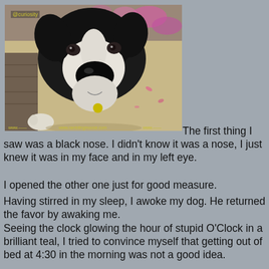[Figure (photo): A black and white dog (appears to be a Border Collie mix) looking up at the camera with its nose prominent in frame, standing on sandy ground with pink flowers in the background. Watermarks visible: 'Curiosity' tag top left, 'www.ramblingmoose.com' center bottom, and other partial URLs.]
The first thing I saw was a black nose.   I didn't know it was a nose, I just knew it was in my face and in my left eye.
I opened the other one just for good measure.
Having stirred in my sleep, I awoke my dog.  He returned the favor by awaking me.
Seeing the clock glowing the hour of stupid O'Clock in a brilliant teal, I tried to convince myself that getting out of bed at 4:30 in the morning was not a good idea.